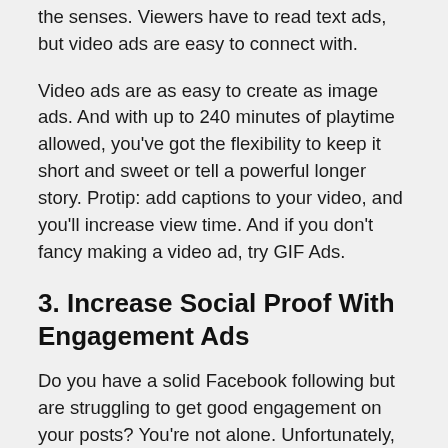the senses. Viewers have to read text ads, but video ads are easy to connect with.
Video ads are as easy to create as image ads. And with up to 240 minutes of playtime allowed, you've got the flexibility to keep it short and sweet or tell a powerful longer story. Protip: add captions to your video, and you'll increase view time. And if you don't fancy making a video ad, try GIF Ads.
3. Increase Social Proof With Engagement Ads
Do you have a solid Facebook following but are struggling to get good engagement on your posts? You're not alone. Unfortunately, Facebook's algorithm only shows your organic posts to a small section of your followers. This can mean strangely low likes and shares on your content